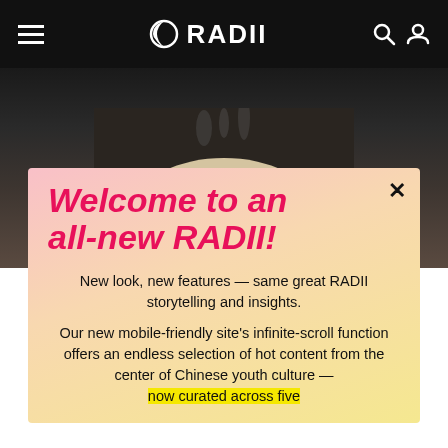RADII
[Figure (photo): Close-up food photo showing steamed dumplings in a bowl, dark background with steam]
Welcome to an all-new RADII!
New look, new features — same great RADII storytelling and insights.
Our new mobile-friendly site's infinite-scroll function offers an endless selection of hot content from the center of Chinese youth culture — now curated across five